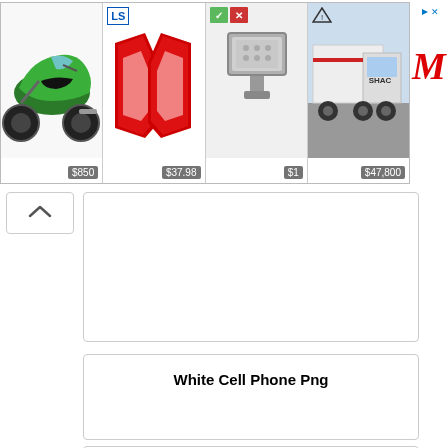[Figure (screenshot): Advertisement banner with four product images: a green motorcycle ($850), red tail lights ($37.98), an LED flood light ($1), a white truck ($47,800), plus a red M brand logo on the right side with close button.]
[Figure (other): Back navigation button with upward chevron arrow]
[Figure (other): Empty white content card (top)]
White Cell Phone Png
[Figure (other): Content card with title White Cell Phone Png and empty white area below]
[Figure (other): Partially visible empty white content card at bottom of page]